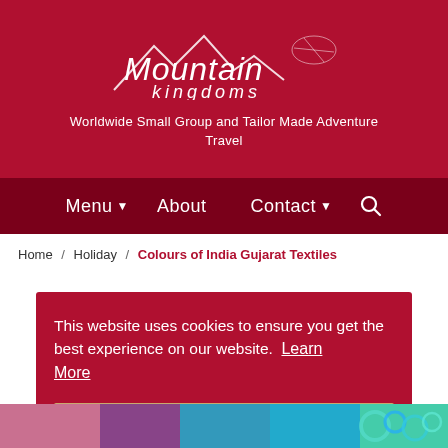Mountain kingdoms — Worldwide Small Group and Tailor Made Adventure Travel
Menu ▾  About  Contact ▾  🔍
Home / Holiday / Colours of India Gujarat Textiles
This website uses cookies to ensure you get the best experience on our website. Learn More
Got it!